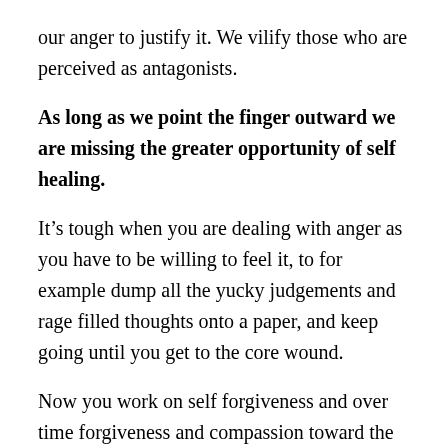our anger to justify it. We vilify those who are perceived as antagonists.
As long as we point the finger outward we are missing the greater opportunity of self healing.
It’s tough when you are dealing with anger as you have to be willing to feel it, to for example dump all the yucky judgements and rage filled thoughts onto a paper, and keep going until you get to the core wound.
Now you work on self forgiveness and over time forgiveness and compassion toward the other.